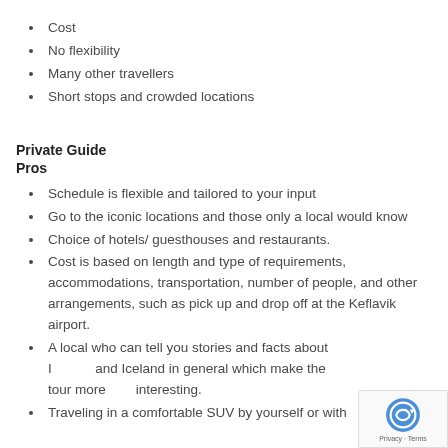Cost
No flexibility
Many other travellers
Short stops and crowded locations
Private Guide
Pros
Schedule is flexible and tailored to your input
Go to the iconic locations and those only a local would know
Choice of hotels/ guesthouses and restaurants.
Cost is based on length and type of requirements, accommodations, transportation, number of people, and other arrangements, such as pick up and drop off at the Keflavik airport.
A local who can tell you stories and facts about Iceland and Iceland in general which make the tour more interesting.
Traveling in a comfortable SUV by yourself or with